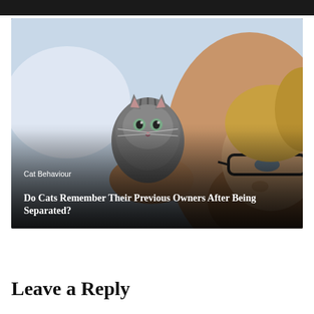[Figure (photo): Dark photo strip at top of page, partial image of a scene]
[Figure (photo): A man with glasses and a beard looking closely at a small tabby kitten he is holding up to his face. Outdoor blurred background. Text overlay at bottom: category 'Cat Behaviour' and title 'Do Cats Remember Their Previous Owners After Being Separated?']
Leave a Reply